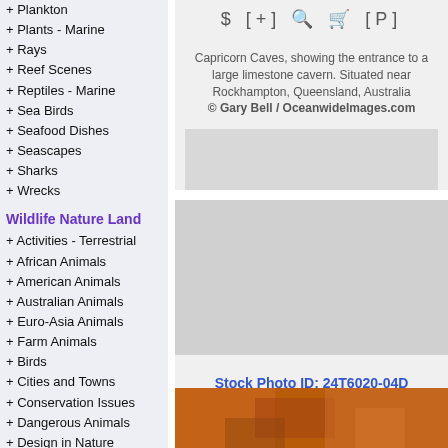+ Plankton
+ Plants - Marine
+ Rays
+ Reef Scenes
+ Reptiles - Marine
+ Sea Birds
+ Seafood Dishes
+ Seascapes
+ Sharks
+ Wrecks
Wildlife Nature Land
+ Activities - Terrestrial
+ African Animals
+ American Animals
+ Australian Animals
+ Euro-Asia Animals
+ Farm Animals
+ Birds
+ Cities and Towns
+ Conservation Issues
+ Dangerous Animals
+ Design in Nature
+ Endangered Species
+ Extinct Animals
+ Forests, Waterfalls
+ Freshwater Rivers
+ Frogs, Toads
Capricorn Caves, showing the entrance to a large limestone cavern. Situated near Rockhampton, Queensland, Australia © Gary Bell / OceanwideImages.com
$ [+] [P]
Stock Photo ID: 24T6020-04D
$ [+] [P]
Capricorn Caves, showing the entrance to a large limestone cavern. Situated near Rockhampton, Queensland, Australia © Gary Bell / OceanwideImages.com
[Figure (photo): Orange/brown textured surface, bottom right panel]